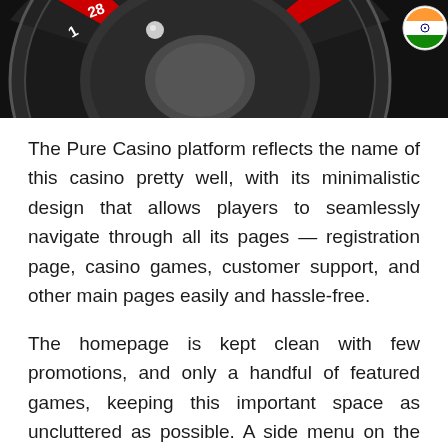[Figure (photo): Close-up photograph of a casino roulette wheel showing red and black numbered slots including numbers 28, 12, 1 visible, with a metallic ball and dark rim. An India flag circular icon appears in the top-right corner.]
The Pure Casino platform reflects the name of this casino pretty well, with its minimalistic design that allows players to seamlessly navigate through all its pages — registration page, casino games, customer support, and other main pages easily and hassle-free.
The homepage is kept clean with few promotions, and only a handful of featured games, keeping this important space as uncluttered as possible. A side menu on the right-hand side directs you unceremoniously to the casino page, Live Casino, and support. Players browsing through the casino and Live Casino games pages can sort the games by category while a search button can prove to be quite useful when locating favorite games.